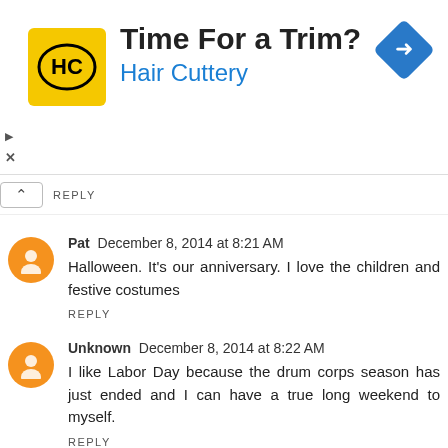[Figure (screenshot): Advertisement banner for Hair Cuttery showing logo, 'Time For a Trim?' text, blue navigation arrow icon, and ad controls (play/close buttons)]
REPLY
Pat  December 8, 2014 at 8:21 AM
Halloween. It's our anniversary. I love the children and festive costumes
REPLY
Unknown  December 8, 2014 at 8:22 AM
I like Labor Day because the drum corps season has just ended and I can have a true long weekend to myself.
REPLY
December 8, 2014 at 8:44 AM